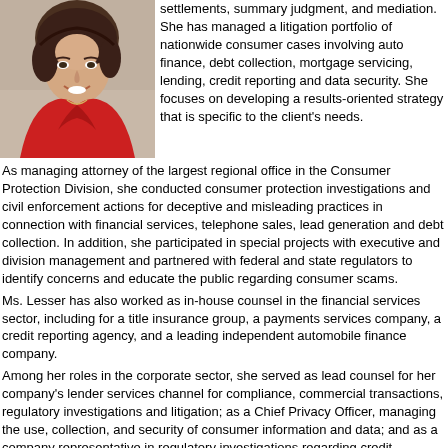[Figure (photo): Portrait photo of a woman in a red jacket, smiling, light background]
settlements, summary judgment, and mediation. She has managed a litigation portfolio of nationwide consumer cases involving auto finance, debt collection, mortgage servicing, lending, credit reporting and data security. She focuses on developing a results-oriented strategy that is specific to the client's needs.
As managing attorney of the largest regional office in the Consumer Protection Division, she conducted consumer protection investigations and civil enforcement actions for deceptive and misleading practices in connection with financial services, telephone sales, lead generation and debt collection. In addition, she participated in special projects with executive and division management and partnered with federal and state regulators to identify concerns and educate the public regarding consumer scams.
Ms. Lesser has also worked as in-house counsel in the financial services sector, including for a title insurance group, a payments services company, a credit reporting agency, and a leading independent automobile finance company.
Among her roles in the corporate sector, she served as lead counsel for her company's lender services channel for compliance, commercial transactions, regulatory investigations and litigation; as a Chief Privacy Officer, managing the use, collection, and security of consumer information and data; and as a company representative in regulatory investigations regarding credit reporting, privacy and mortgage servicing.